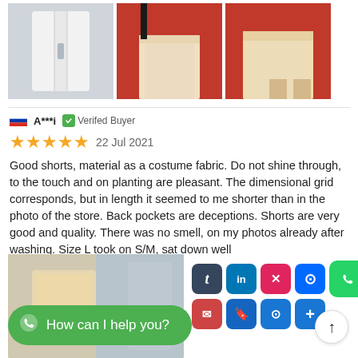[Figure (photo): Three product photos of white/cream shorts: left shows white fabric close-up, center and right show person wearing cream shorts against red background]
A****i  Verifed Buyer
22 Jul 2021
Good shorts, material as a costume fabric. Do not shine through, to the touch and on planting are pleasant. The dimensional grid corresponds, but in length it seemed to me shorter than in the photo of the store. Back pockets are deceptions. Shorts are very good and quality. There was no smell, on my photos already after washing. Size L took on S/M, sat down well
[Figure (photo): Photo of cream/beige shorts laid on fabric surface]
How can I help you?